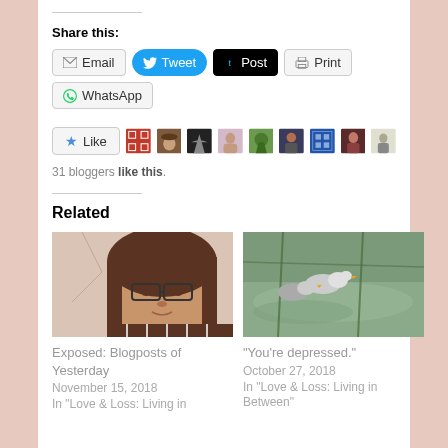Share this:
Email | Tweet | Post | Print | WhatsApp
[Figure (other): Like button with 31 blogger avatars. Text: '31 bloggers like this.']
Related
[Figure (photo): Photo of a woman with glasses and brown hair looking at the camera]
Exposed: Blogposts of Yesterday
November 15, 2018
In "Love & Loss: Living in
[Figure (photo): Photo of ducks on a pond/water with reflections]
"You're depressed."
October 27, 2018
In "Love & Loss: Living in Between"